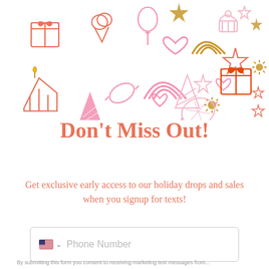[Figure (illustration): Colorful party and celebration doodle icons scattered across the top of the page: gift boxes, ice cream, balloon, hearts, rainbows, stars, candy, birthday cake slice, party hat, cupcake, sunburst, in pink, coral, and gold colors.]
Don't Miss Out!
Get exclusive early access to our holiday drops and sales when you signup for texts!
Phone Number
By submitting this form you consent to receiving marketing text messages from...